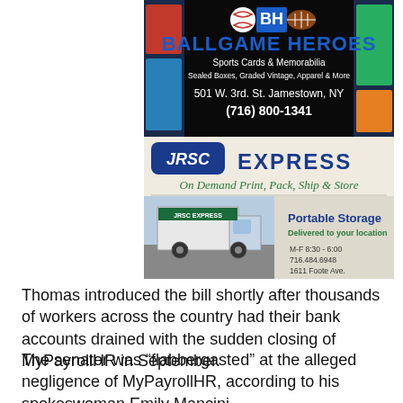[Figure (illustration): Ballgame Heroes advertisement - Sports Cards and Memorabilia store ad with black background, blue logo text, sports card images on sides, address 501 W. 3rd. St. Jamestown, NY, phone (716) 800-1341]
[Figure (illustration): JRSC Express advertisement - On Demand Print, Pack, Ship & Store. Portable Storage Delivered to your location. M-F 8:30-6:00, 716.484.6948, 1611 Foote Ave.]
Thomas introduced the bill shortly after thousands of workers across the country had their bank accounts drained with the sudden closing of MyPayrollHR in September.
The senator was “flabbergasted” at the alleged negligence of MyPayrollHR, according to his spokeswoman Emily Mancini.